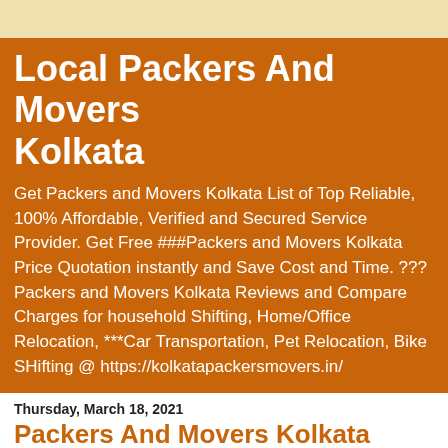Local Packers And Movers Kolkata
Get Packers and Movers Kolkata List of Top Reliable, 100% Affordable, Verified and Secured Service Provider. Get Free ###Packers and Movers Kolkata Price Quotation instantly and Save Cost and Time. ???Packers and Movers Kolkata Reviews and Compare Charges for household Shifting, Home/Office Relocation, ***Car Transportation, Pet Relocation, Bike SHifting @ https://kolkatapackersmovers.in/
Thursday, March 18, 2021
Packers And Movers Kolkata Ways To Relocate Plants In New Home Via Car
There are few things that we have nervous about moving it can be your precious imported plant when I was moving my